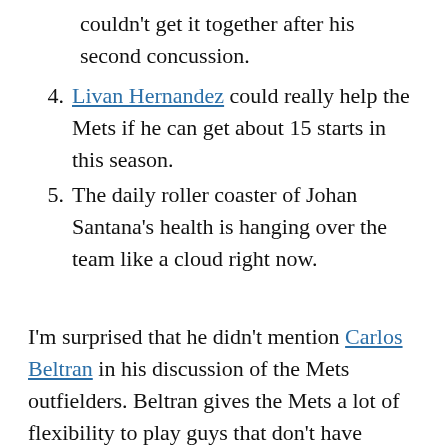couldn't get it together after his second concussion.
Livan Hernandez could really help the Mets if he can get about 15 starts in this season.
The daily roller coaster of Johan Santana's health is hanging over the team like a cloud right now.
I'm surprised that he didn't mention Carlos Beltran in his discussion of the Mets outfielders. Beltran gives the Mets a lot of flexibility to play guys that don't have outfield experience. He covers a ton of ground in the outfield and leads the other players positioning.
I'm also surprised that he didn't mention what